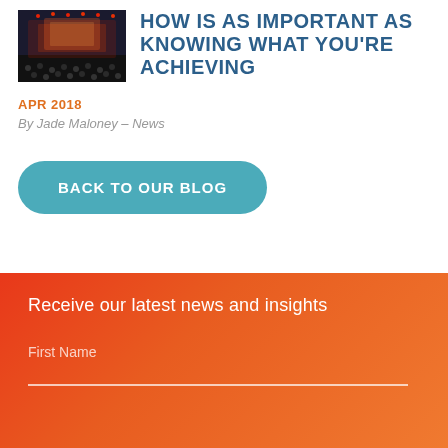[Figure (photo): Conference or event photo showing a large audience in a dark venue with red/orange stage lighting and a screen in the background]
HOW IS AS IMPORTANT AS KNOWING WHAT YOU'RE ACHIEVING
APR 2018
By Jade Maloney – News
BACK TO OUR BLOG
Receive our latest news and insights
First Name